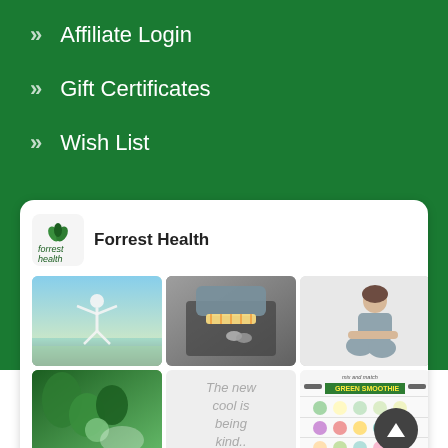» Affiliate Login
» Gift Certificates
» Wish List
[Figure (screenshot): Forrest Health social media / website card showing logo, brand name 'Forrest Health', and a grid of health-related images including yoga, weight loss, emotional wellness, green foods, a quote card reading 'The new cool is being kind..', a green smoothie infographic, and a green smoothie recipe card.]